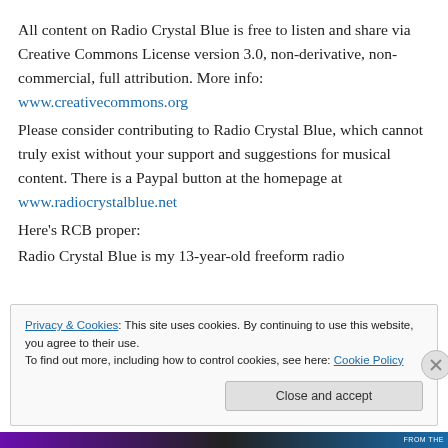All content on Radio Crystal Blue is free to listen and share via Creative Commons License version 3.0, non-derivative, non-commercial, full attribution. More info: www.creativecommons.org
Please consider contributing to Radio Crystal Blue, which cannot truly exist without your support and suggestions for musical content. There is a Paypal button at the homepage at www.radiocrystalblue.net
Here's RCB proper:
Radio Crystal Blue is my 13-year-old freeform radio
Privacy & Cookies: This site uses cookies. By continuing to use this website, you agree to their use.
To find out more, including how to control cookies, see here: Cookie Policy
Close and accept